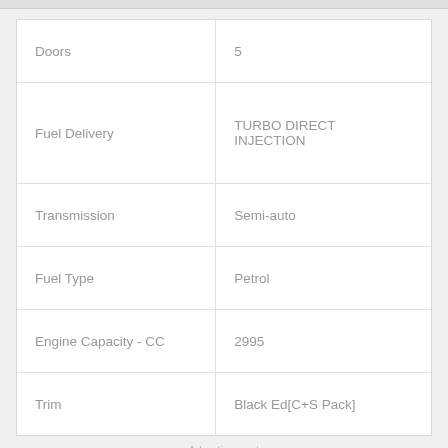| Attribute | Value |
| --- | --- |
| Doors | 5 |
| Fuel Delivery | TURBO DIRECT INJECTION |
| Transmission | Semi-auto |
| Fuel Type | Petrol |
| Engine Capacity - CC | 2995 |
| Trim | Black Ed[C+S Pack] |
Advertisement